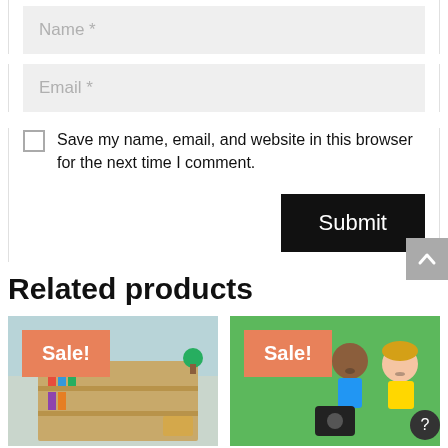Name *
Email *
Save my name, email, and website in this browser for the next time I comment.
Submit
Related products
[Figure (photo): Product card with Sale! badge over a classroom/shelf scene]
[Figure (photo): Product card with Sale! badge over a green background with children]